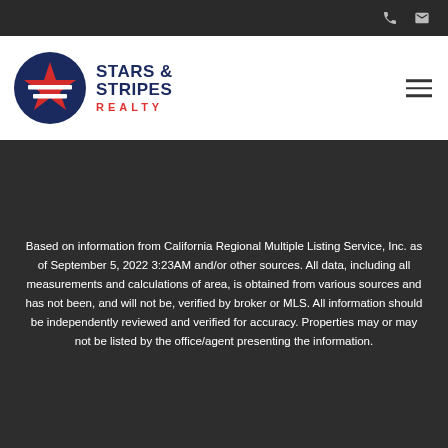Stars & Stripes Realty
Based on information from California Regional Multiple Listing Service, Inc. as of September 5, 2022 3:23AM and/or other sources. All data, including all measurements and calculations of area, is obtained from various sources and has not been, and will not be, verified by broker or MLS. All information should be independently reviewed and verified for accuracy. Properties may or may not be listed by the office/agent presenting the information.